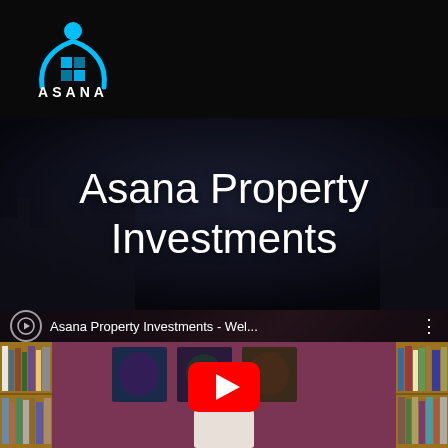[Figure (logo): Asana logo: cyan figure with arms raised above a house/grid icon, with 'ASANA' text below in white on black background]
Asana Property Investments
[Figure (screenshot): YouTube video thumbnail showing a man seated in front of bookshelves with a red YouTube play button overlay. Video title bar reads 'Asana Property Investments - Wel...']